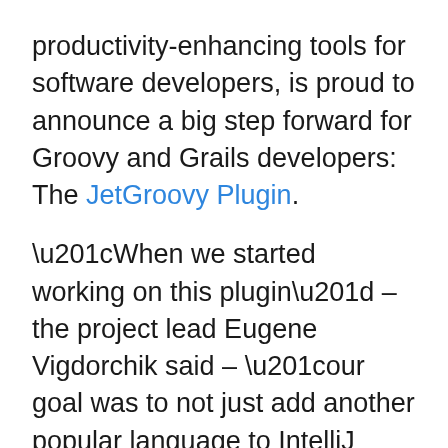productivity-enhancing tools for software developers, is proud to announce a big step forward for Groovy and Grails developers: The JetGroovy Plugin.

“When we started working on this plugin” – the project lead Eugene Vigdorchik said – “our goal was to not just add another popular language to IntelliJ IDEA. We wanted to implement the best-in-the-market support for Groovy developers, and we are proud to say that now they can develop Groovy with the same pleasure as our Java users do. Some initial support for